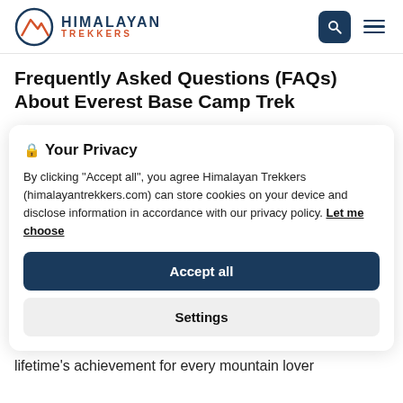HIMALAYAN TREKKERS
Frequently Asked Questions (FAQs) About Everest Base Camp Trek
🔒 Your Privacy
By clicking “Accept all”, you agree Himalayan Trekkers (himalayantrekkers.com) can store cookies on your device and disclose information in accordance with our privacy policy. Let me choose
Accept all
Settings
lifetime’s achievement for every mountain lover